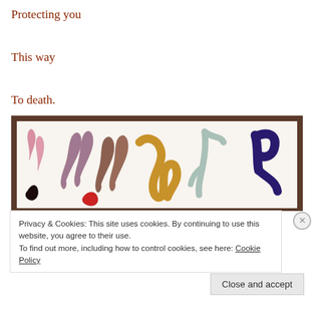Protecting you

This way

To death.
[Figure (illustration): A watercolor painting on white paper showing abstract worm-like or intestine-like shapes in various colors: pink, mauve/purple, brown, orange, light blue/teal, and dark navy blue, arranged across the paper. The paper sits on a dark wooden surface.]
Privacy & Cookies: This site uses cookies. By continuing to use this website, you agree to their use.
To find out more, including how to control cookies, see here: Cookie Policy
Close and accept